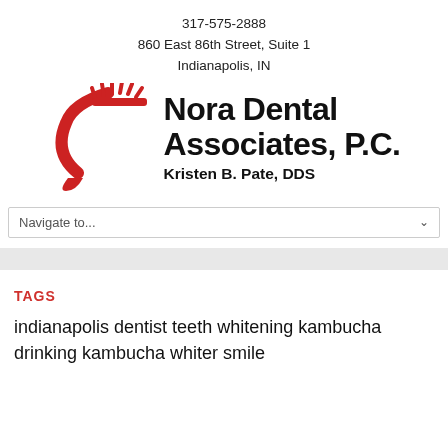317-575-2888
860 East 86th Street, Suite 1
Indianapolis, IN
[Figure (logo): Nora Dental Associates P.C. logo with red toothbrush graphic and text: Nora Dental Associates, P.C. / Kristen B. Pate, DDS]
Navigate to...
TAGS
indianapolis dentist teeth whitening kambucha drinking kambucha whiter smile